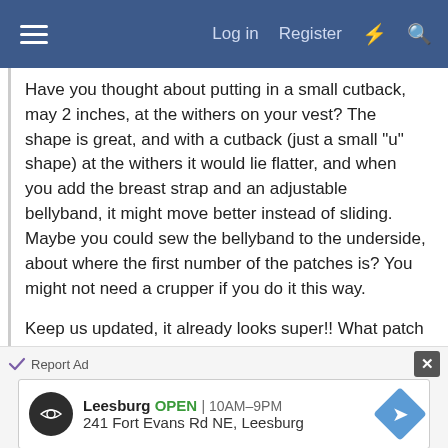Log in  Register
Have you thought about putting in a small cutback, may 2 inches, at the withers on your vest? The shape is great, and with a cutback (just a small "u" shape) at the withers it would lie flatter, and when you add the breast strap and an adjustable bellyband, it might move better instead of sliding. Maybe you could sew the bellyband to the underside, about where the first number of the patches is? You might not need a crupper if you do it this way.
Keep us updated, it already looks super!! What patch does your mini earn for selling the most boxes of cookies? 'Cause you know he will!!!!😊😍
[Figure (screenshot): Advertisement banner showing Leesburg business, OPEN 10AM-9PM, 241 Fort Evans Rd NE, Leesburg with navigation arrow icon]